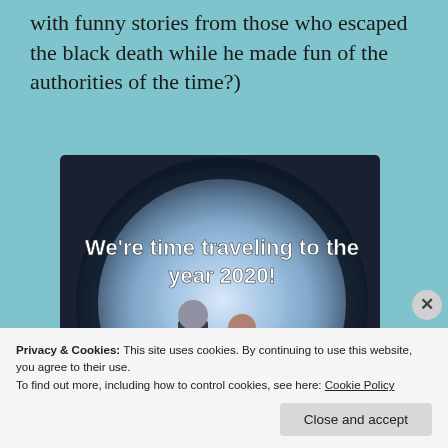with funny stories from those who escaped the black death while he made fun of the authorities of the time?)
[Figure (photo): A still from a TV show or movie showing two figures walking into a glowing circular portal or time machine, with text overlay reading 'We're time traveling to the year 2020!']
Privacy & Cookies: This site uses cookies. By continuing to use this website, you agree to their use.
To find out more, including how to control cookies, see here: Cookie Policy
Close and accept